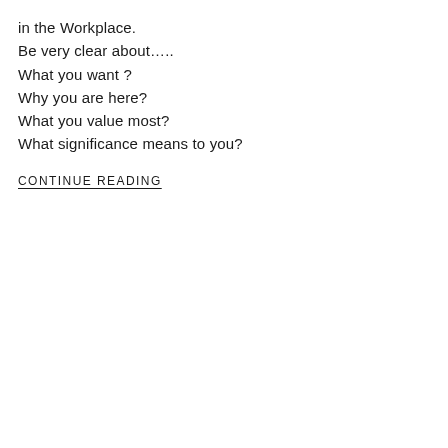in the Workplace.
Be very clear about…..
What you want ?
Why you are here?
What you value most?
What significance means to you?
CONTINUE READING